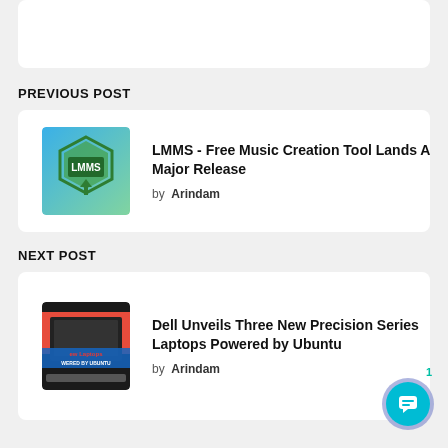PREVIOUS POST
[Figure (screenshot): LMMS app logo - green hexagonal icon on blue-green background with LMMS text]
LMMS - Free Music Creation Tool Lands A Major Release
by Arindam
NEXT POST
[Figure (screenshot): Dell laptop promo image showing red laptop with 'New Laptops Powered by Ubuntu' text overlay]
Dell Unveils Three New Precision Series Laptops Powered by Ubuntu
by Arindam